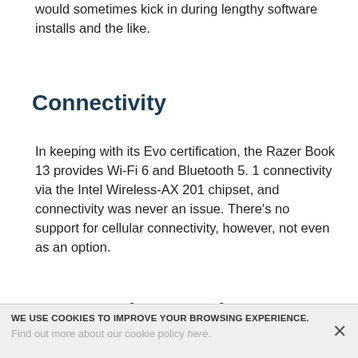would sometimes kick in during lengthy software installs and the like.
Connectivity
In keeping with its Evo certification, the Razer Book 13 provides Wi-Fi 6 and Bluetooth 5. 1 connectivity via the Intel Wireless-AX 201 chipset, and connectivity was never an issue. There’s no support for cellular connectivity, however, not even as an option.
Ports and expansion
Razer provides a nice selection of modern and legacy ports on the Book 13. You’ll find a Thunderbolt
WE USE COOKIES TO IMPROVE YOUR BROWSING EXPERIENCE.
Find out more about our cookie policy here.